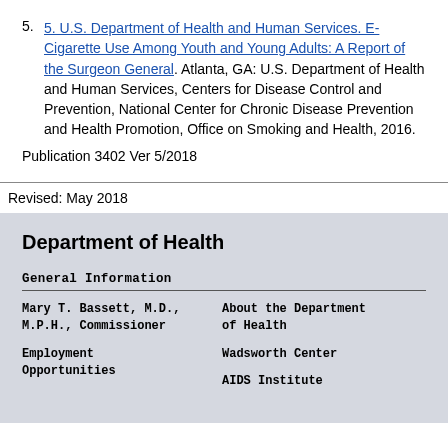5. U.S. Department of Health and Human Services. E-Cigarette Use Among Youth and Young Adults: A Report of the Surgeon General. Atlanta, GA: U.S. Department of Health and Human Services, Centers for Disease Control and Prevention, National Center for Chronic Disease Prevention and Health Promotion, Office on Smoking and Health, 2016.
Publication 3402 Ver 5/2018
Revised: May 2018
Department of Health
General Information
Mary T. Bassett, M.D., M.P.H., Commissioner
About the Department of Health
Employment Opportunities
Wadsworth Center
AIDS Institute